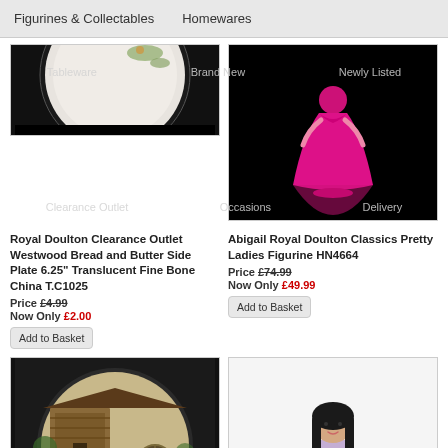Figurines & Collectables   Homewares
Tableware   Brand New   Newly Listed
Clearance Outlet   Occasions   Delivery
[Figure (photo): Royal Doulton Westwood plate on black background, partial view of circular plate with floral design]
Royal Doulton Clearance Outlet Westwood Bread and Butter Side Plate 6.25" Translucent Fine Bone China T.C1025
Price £4.99
Now Only £2.00
Add to Basket
[Figure (photo): Abigail Royal Doulton Classics Pretty Ladies Figurine HN4664 - woman in pink/magenta dress on black background]
Abigail Royal Doulton Classics Pretty Ladies Figurine HN4664
Price £74.99
Now Only £49.99
Add to Basket
[Figure (photo): Royal Doulton The Wheelwright Old Country Crafts Limited - decorative collector plate showing scene of craftsmen working in a workshop]
Royal Doulton The Wheelwright Old Country Crafts Limited
[Figure (photo): Royal Doulton figurine of a girl in lavender/lilac dress with black hair, arms slightly outstretched, standing on white base]
Royal Doulton